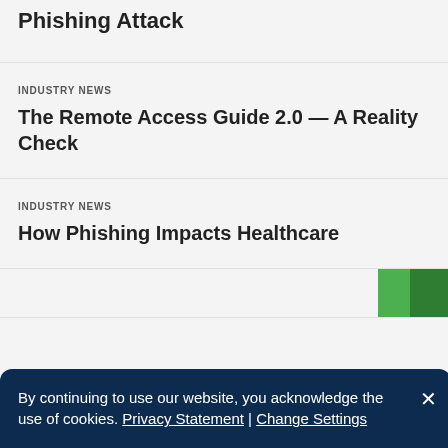Phishing Attack
INDUSTRY NEWS
The Remote Access Guide 2.0 — A Reality Check
INDUSTRY NEWS
How Phishing Impacts Healthcare
By continuing to use our website, you acknowledge the use of cookies. Privacy Statement | Change Settings